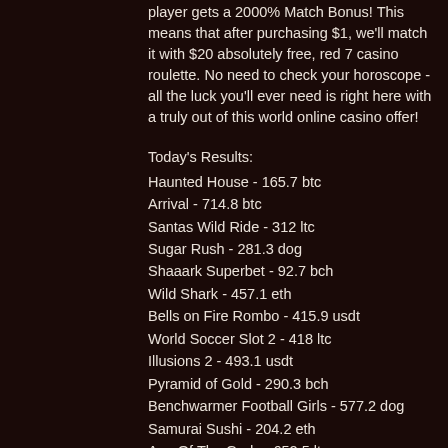player gets a 2000% Match Bonus! This means that after purchasing $1, we'll match it with $20 absolutely free, red 7 casino roulette. No need to check your horoscope - all the luck you'll ever need is right here with a truly out of this world online casino offer!
Today's Results:
Haunted House - 165.7 btc
Arrival - 714.8 btc
Santas Wild Ride - 312 ltc
Sugar Rush - 281.3 dog
Shaaark Superbet - 92.7 bch
Wild Shark - 457.1 eth
Bells on Fire Rombo - 415.9 usdt
World Soccer Slot 2 - 418 ltc
Illusions 2 - 493.1 usdt
Pyramid of Gold - 290.3 bch
Benchwarmer Football Girls - 577.2 dog
Samurai Sushi - 204.2 eth
Age Of The Gods - 652.5 ltc